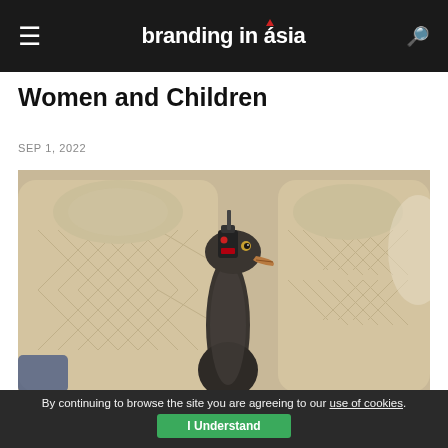branding in asia
Women and Children
SEP 1, 2022
[Figure (photo): A goose or duck sitting in a luxury airline seat, wearing a small black device around its neck, surrounded by cream/beige leather quilted seats]
By continuing to browse the site you are agreeing to our use of cookies. I Understand